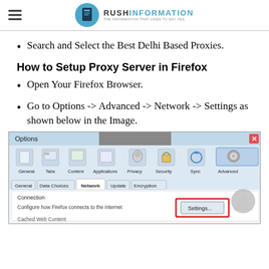RUSH INFORMATION — THE INFORMATION THAT LIKES TO SAY YES
Search and Select the Best Delhi Based Proxies.
How to Setup Proxy Server in Firefox
Open Your Firefox Browser.
Go to Options -> Advanced -> Network -> Settings as shown below in the Image.
[Figure (screenshot): Firefox Options dialog showing the Advanced > Network tab with Connection section and Settings... button highlighted with a red rectangle border]